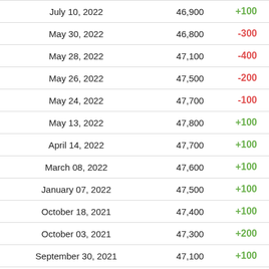| Date | Value | Change |
| --- | --- | --- |
| July 10, 2022 | 46,900 | +100 |
| May 30, 2022 | 46,800 | -300 |
| May 28, 2022 | 47,100 | -400 |
| May 26, 2022 | 47,500 | -200 |
| May 24, 2022 | 47,700 | -100 |
| May 13, 2022 | 47,800 | +100 |
| April 14, 2022 | 47,700 | +100 |
| March 08, 2022 | 47,600 | +100 |
| January 07, 2022 | 47,500 | +100 |
| October 18, 2021 | 47,400 | +100 |
| October 03, 2021 | 47,300 | +200 |
| September 30, 2021 | 47,100 | +100 |
| September 28, 2021 | 47,000 | +100 |
| September 26, 2021 | 46,900 | +100 |